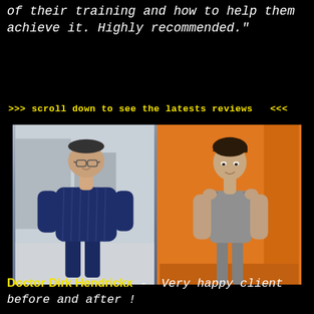of their training and how to help them achieve it. Highly recommended."
>>> scroll down to see the latests reviews   <<<
[Figure (photo): Before and after transformation photos of Doctor Dirk Hendrickx. Left photo shows a heavier man wearing a dark blue striped shirt outdoors. Right photo shows the same man after weight loss, wearing a grey sleeveless shirt against an orange background.]
Doctor Dirk Hendrickx -  Very happy client before and after !